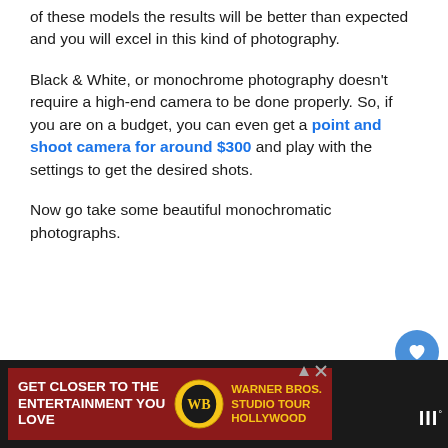of these models the results will be better than expected and you will excel in this kind of photography.
Black & White, or monochrome photography doesn't require a high-end camera to be done properly. So, if you are on a budget, you can even get a point and shoot camera for around $300 and play with the settings to get the desired shots.
Now go take some beautiful monochromatic photographs.
[Figure (other): Social interaction buttons: heart/like button (blue circle with heart icon), count of 1, and share button (white circle with share icon)]
[Figure (other): Advertisement banner: dark red background with text 'GET CLOSER TO THE ENTERTAINMENT YOU LOVE', Warner Bros. Studio Tour Hollywood logo, and Tidal music logo]